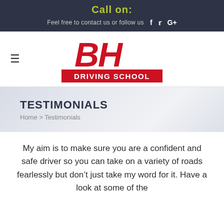Call on:
Feel free to contact us or follow us
[Figure (logo): BH Driving School logo with red BH letters and red banner reading DRIVING SCHOOL]
TESTIMONIALS
Home > Testimonials
My aim is to make sure you are a confident and safe driver so you can take on a variety of roads fearlessly but don't just take my word for it. Have a look at some of the